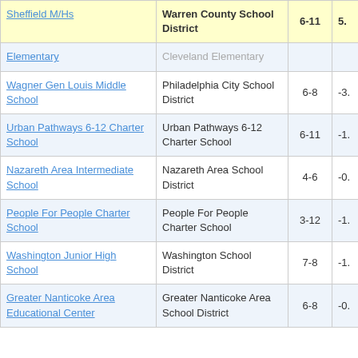| School | District | Grades | Score |
| --- | --- | --- | --- |
| Sheffield M/Hs | Warren County School District | 6-11 | 5. |
| Elementary | Cleveland Elementary |  |  |
| Wagner Gen Louis Middle School | Philadelphia City School District | 6-8 | -3. |
| Urban Pathways 6-12 Charter School | Urban Pathways 6-12 Charter School | 6-11 | -1. |
| Nazareth Area Intermediate School | Nazareth Area School District | 4-6 | -0. |
| People For People Charter School | People For People Charter School | 3-12 | -1. |
| Washington Junior High School | Washington School District | 7-8 | -1. |
| Greater Nanticoke Area Educational Center | Greater Nanticoke Area School District | 6-8 | -0. |